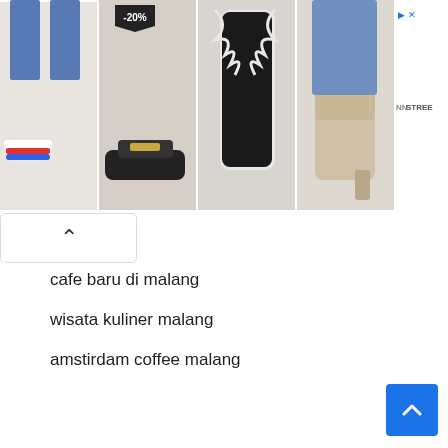[Figure (photo): Advertisement banner showing four shoe/footwear product images in a grid. First image: white and red sneakers worn by a person. Second image: black mule/loafer shoes with -20% discount badge, worn by a person. Third image: black and white tall boots worn by a person. Fourth image: beige ankle boots with heel worn by a person with 'NEW' badge. Side panel shows NNSTREE logo and arrow/close icons.]
cafe baru di malang
wisata kuliner malang
amstirdam coffee malang
steak murah
waroeng bamboe lesehan sidomulyo
kuliner enak di malang
batu suki resto
batu suki batu malang